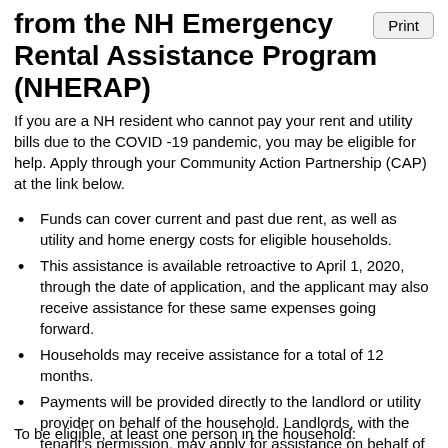from the NH Emergency Rental Assistance Program (NHERAP)
If you are a NH resident who cannot pay your rent and utility bills due to the COVID -19 pandemic, you may be eligible for help. Apply through your Community Action Partnership (CAP) at the link below.
Funds can cover current and past due rent, as well as utility and home energy costs for eligible households.
This assistance is available retroactive to April 1, 2020, through the date of application, and the applicant may also receive assistance for these same expenses going forward.
Households may receive assistance for a total of 12 months.
Payments will be provided directly to the landlord or utility provider on behalf of the household. Landlords, with the tenant's permission, may apply for assistance on behalf of their tenant.
This program is only for eligible renters and landlords, not homeowners, per federal rules.
To be eligible, at least one person in the household: